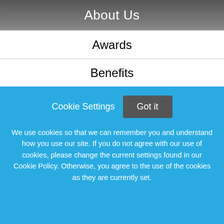About Us
Awards
Benefits
Diversity
Vision
Open Jobs
Cookie Settings  Got it

We use cookies so that we can remember you and understand how you use our site. If you do not agree with our use of cookies, please change the current settings found in our Cookie Policy. Otherwise, you agree to the use of the cookies as they are currently set.